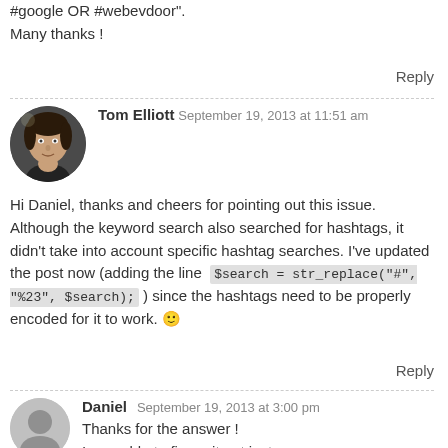#google OR #webevdoor".
Many thanks !
Reply
Tom Elliott September 19, 2013 at 11:51 am
Hi Daniel, thanks and cheers for pointing out this issue. Although the keyword search also searched for hashtags, it didn't take into account specific hashtag searches. I've updated the post now (adding the line $search = str_replace("#", "%23", $search); ) since the hashtags need to be properly encoded for it to work. 🙂
Reply
Daniel September 19, 2013 at 3:00 pm
Thanks for the answer ! I was able to figure it out just